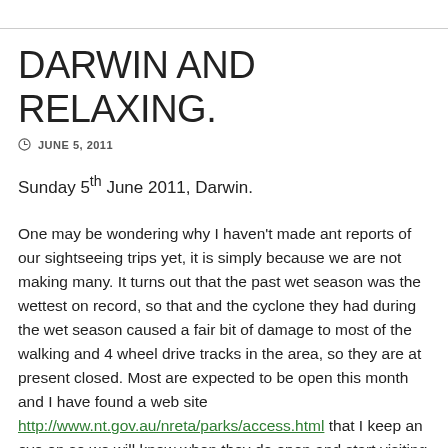DARWIN AND RELAXING.
JUNE 5, 2011
Sunday 5th June 2011, Darwin.
One may be wondering why I haven't made ant reports of our sightseeing trips yet, it is simply because we are not making many. It turns out that the past wet season was the wettest on record, so that and the cyclone they had during the wet season caused a fair bit of damage to most of the walking and 4 wheel drive tracks in the area, so they are at present closed. Most are expected to be open this month and I have found a web site http://www.nt.gov.au/nreta/parks/access.html that I keep an eye on so we will know when they do open and start visiting then. Kakadu is not on our immediate list anyway as we intend